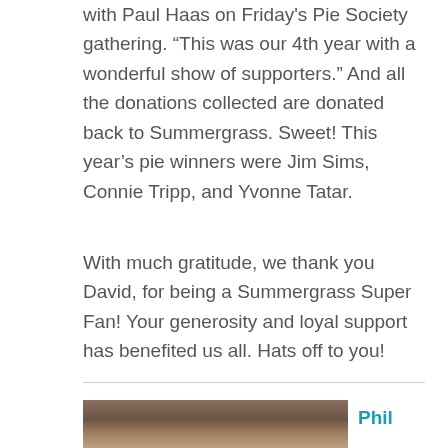with Paul Haas on Friday's Pie Society gathering. “This was our 4th year with a wonderful show of supporters.” And all the donations collected are donated back to Summergrass. Sweet! This year’s pie winners were Jim Sims, Connie Tripp, and Yvonne Tatar.
With much gratitude, we thank you David, for being a Summergrass Super Fan! Your generosity and loyal support has benefited us all. Hats off to you!
[Figure (photo): Photo of a person wearing a pink hat, partially visible at the bottom of the page]
Phil